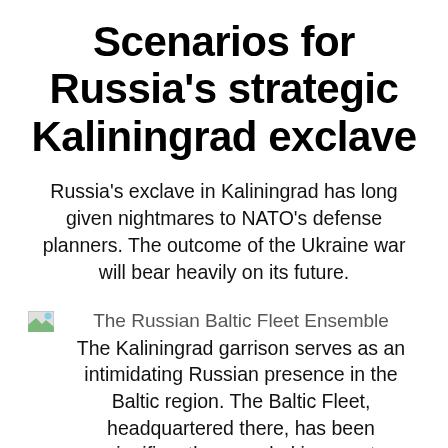Scenarios for Russia's strategic Kaliningrad exclave
Russia's exclave in Kaliningrad has long given nightmares to NATO's defense planners. The outcome of the Ukraine war will bear heavily on its future.
The Russian Baltic Fleet Ensemble
The Kaliningrad garrison serves as an intimidating Russian presence in the Baltic region. The Baltic Fleet, headquartered there, has been significantly upgraded in recent